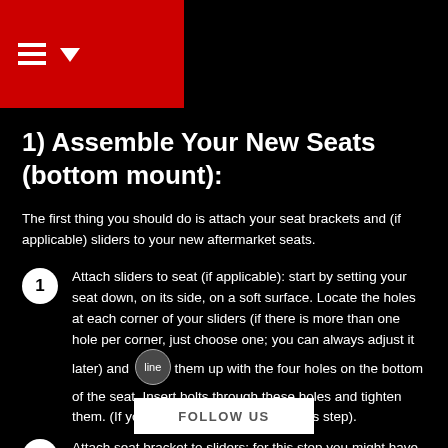Navigation menu header with hamburger icon and dropdown arrow
1) Assemble Your New Seats (bottom mount):
The first thing you should do is attach your seat brackets and (if applicable) sliders to your new aftermarket seats.
1  Attach sliders to seat (if applicable): start by setting your seat down, on its side, on a soft surface. Locate the holes at each corner of your sliders (if there is more than one hole per corner, just choose one; you can always adjust it later) and line them up with the four holes on the bottom of the seat. Insert bolts through these holes and tighten them. (If you're not using sliders, skip this step).
2  Attach seat bracket to sliders: for this step you might have to use the sliding me... slider to access the ho...